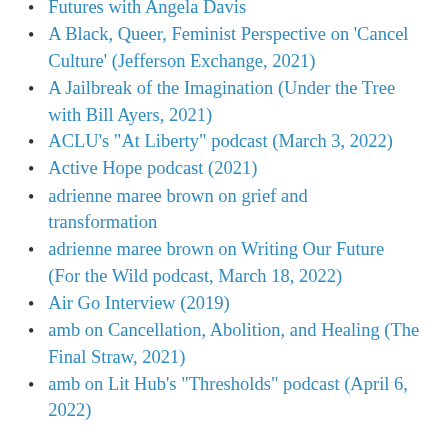Futures with Angela Davis
A Black, Queer, Feminist Perspective on 'Cancel Culture' (Jefferson Exchange, 2021)
A Jailbreak of the Imagination (Under the Tree with Bill Ayers, 2021)
ACLU's "At Liberty" podcast (March 3, 2022)
Active Hope podcast (2021)
adrienne maree brown on grief and transformation
adrienne maree brown on Writing Our Future (For the Wild podcast, March 18, 2022)
Air Go Interview (2019)
amb on Cancellation, Abolition, and Healing (The Final Straw, 2021)
amb on Lit Hub's "Thresholds" podcast (April 6, 2022)